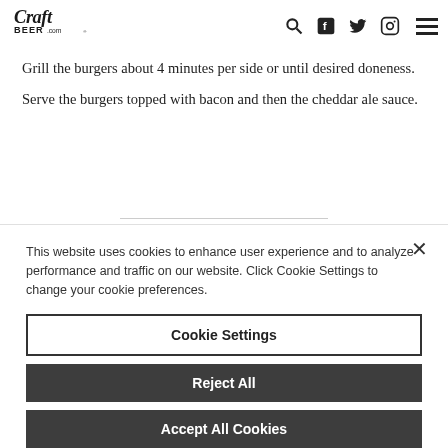CraftBeer.com
Grill the burgers about 4 minutes per side or until desired doneness.
Serve the burgers topped with bacon and then the cheddar ale sauce.
This website uses cookies to enhance user experience and to analyze performance and traffic on our website. Click Cookie Settings to change your cookie preferences.
Cookie Settings
Reject All
Accept All Cookies